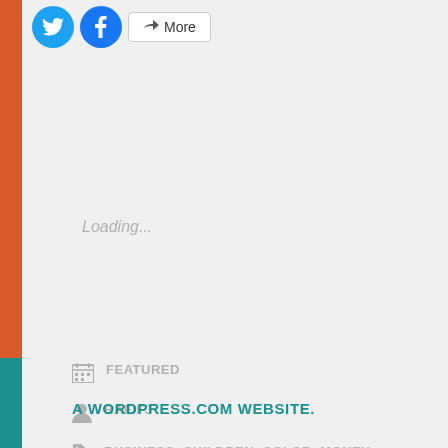[Figure (screenshot): Social share buttons: Twitter (blue circle), Facebook (blue circle), and More button with share icon]
Loading...
FEATURED
RAFIFJ
BUSINESS, CHILDREN, COLOR, MONEY, PEOPLE CHANGE
A WORDPRESS.COM WEBSITE.